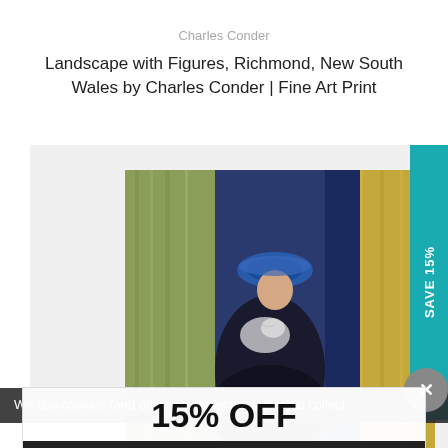Charles Conder
Landscape with Figures, Richmond, New South Wales by Charles Conder | Fine Art Print
[Figure (photo): A painting showing a woman in a dark dress and blue hat seated in front of blue curtains and golden drapery, attributed to Charles Conder]
SAVE 15%
We use cookies (and other similar technologies) to collect
15% OFF
ACTIVATE DISCOUNT